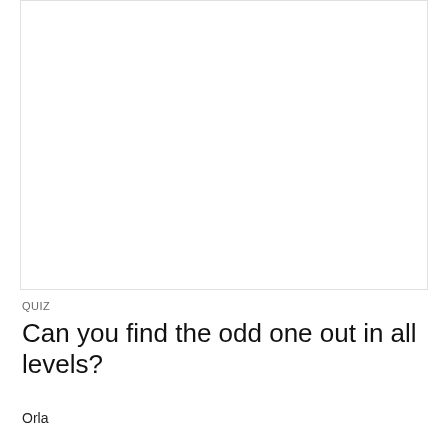[Figure (illustration): Grid of yellow house emoji icons arranged in 7 rows and 9 columns. Most houses look identical — yellow with a dark roof, windows, and door. One house in the grid is the 'odd one out' (slightly different from the others). This is a visual puzzle/quiz image.]
QUIZ
Can you find the odd one out in all levels?
Orla